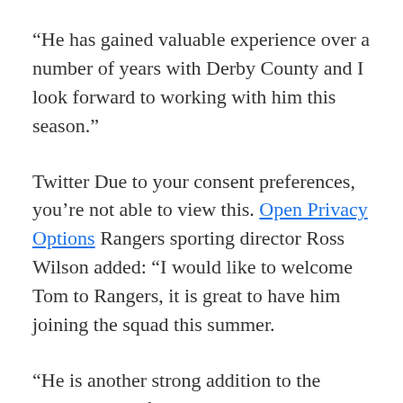“He has gained valuable experience over a number of years with Derby County and I look forward to working with him this season.”
Twitter Due to your consent preferences, you’re not able to view this. Open Privacy Options Rangers sporting director Ross Wilson added: “I would like to welcome Tom to Rangers, it is great to have him joining the squad this summer.
“He is another strong addition to the group ahead of the 2022/23 campaign.”
Lawrence becomes Rangers’ fourth recruit of the summer window after the arrivals of John Souttar,